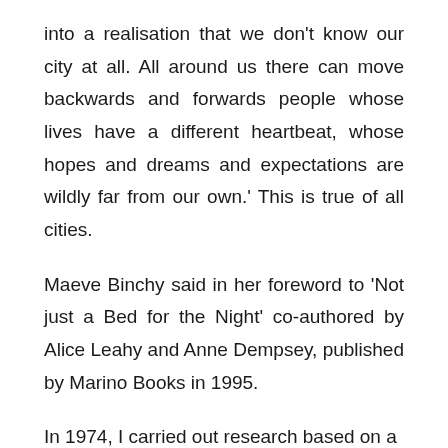into a realisation that we don't know our city at all. All around us there can move backwards and forwards people whose lives have a different heartbeat, whose hopes and dreams and expectations are wildly far from our own.' This is true of all cities.
Maeve Binchy said in her foreword to 'Not just a Bed for the Night' co-authored by Alice Leahy and Anne Dempsey, published by Marino Books in 1995.
In 1974, I carried out research based on a